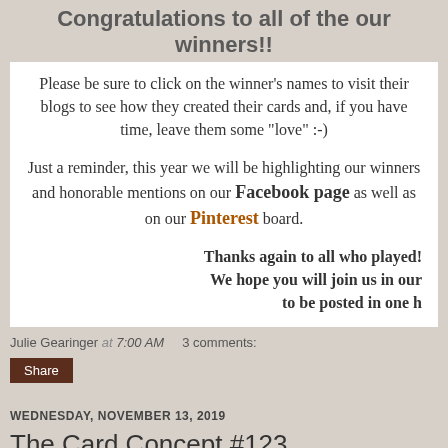Congratulations to all of the our winners!!
Please be sure to click on the winner's names to visit their blogs to see how they created their cards and, if you have time, leave them some "love" :-)
Just a reminder, this year we will be highlighting our winners and honorable mentions on our Facebook page as well as on our Pinterest board.
Thanks again to all who played! We hope you will join us in our to be posted in one h
Julie Gearinger at 7:00 AM   3 comments:
Share
WEDNESDAY, NOVEMBER 13, 2019
The Card Concept #123 {Thanksgiving